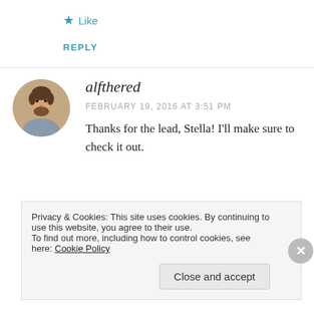★ Like
REPLY
[Figure (photo): Round avatar photo of a bearded man smiling]
alfthered
FEBRUARY 19, 2016 AT 3:51 PM
Thanks for the lead, Stella! I'll make sure to check it out.
Privacy & Cookies: This site uses cookies. By continuing to use this website, you agree to their use.
To find out more, including how to control cookies, see here: Cookie Policy